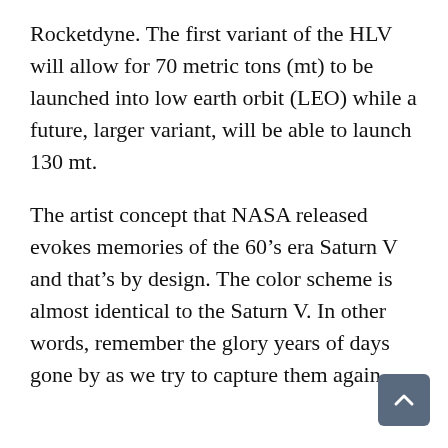Rocketdyne. The first variant of the HLV will allow for 70 metric tons (mt) to be launched into low earth orbit (LEO) while a future, larger variant, will be able to launch 130 mt.
The artist concept that NASA released evokes memories of the 60’s era Saturn V and that’s by design. The color scheme is almost identical to the Saturn V. In other words, remember the glory years of days gone by as we try to capture them again.